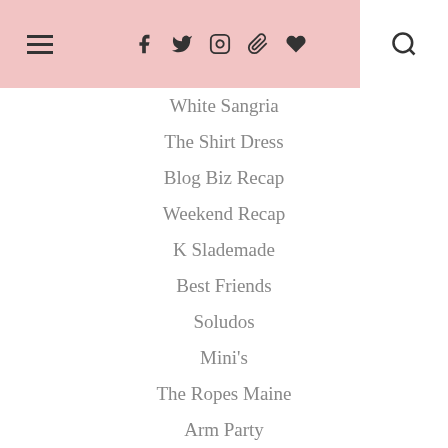≡  f  Twitter  Instagram  Pinterest  Heart  Search
White Sangria
The Shirt Dress
Blog Biz Recap
Weekend Recap
K Slademade
Best Friends
Soludos
Mini's
The Ropes Maine
Arm Party
Beach
How my Garden Grows
DERNG
► May (21)
► April (20)
► March (21)